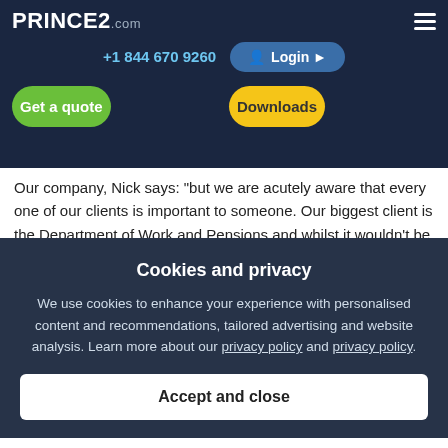PRINCE2.com
+1 844 670 9260
Login
Get a quote
Downloads
Our company, Nick says: "but we are acutely aware that every one of our clients is important to someone. Our biggest client is the Department of Work and Pensions and whilst it wouldn't be acceptable to have a single point of failure, if a pension doesn't get paid into the bank, that is a colossal issue."
As well as an open culture, whose aim is to address issues and problems when they arise and to not 'hope for the best' but instead to look for the appropriate organisation...PRINCE2® and its...
Cookies and privacy
We use cookies to enhance your experience with personalised content and recommendations, tailored advertising and website analysis. Learn more about our privacy policy and privacy policy.
Accept and close
Payments Service is VocaLink, and Nick Masterson Jones is their Director of Information Technology. VocaLink process domestic and international automated payments and provides ATM switching solutions. It also runs the Bacs service, specialising in the